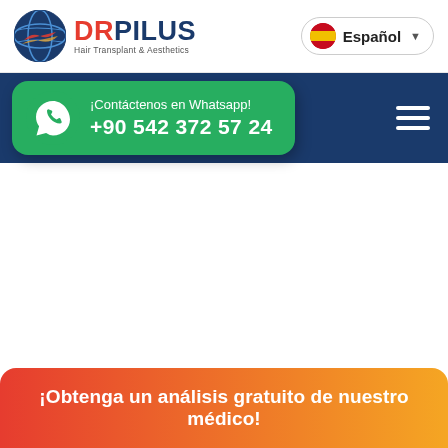[Figure (logo): DR PILUS Hair Transplant & Aesthetics logo with globe icon]
Español
¡Contáctenos en Whatsapp! +90 542 372 57 24
¡Obtenga un análisis gratuito de nuestro médico!